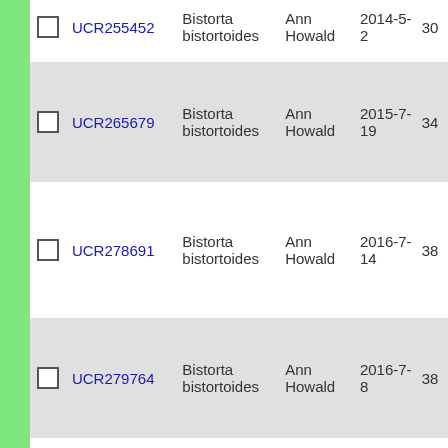|  | ID | Species | Collector | Date | Num |
| --- | --- | --- | --- | --- | --- |
| ☐ | UCR255452 | Bistorta bistortoides | Ann Howald | 2014-5-2 | 30 |
| ☐ | UCR265679 | Bistorta bistortoides | Ann Howald | 2015-7-19 | 34 |
| ☐ | UCR278691 | Bistorta bistortoides | Ann Howald | 2016-7-14 | 38 |
| ☐ | UCR279764 | Bistorta bistortoides | Ann Howald | 2016-7-8 | 38 |